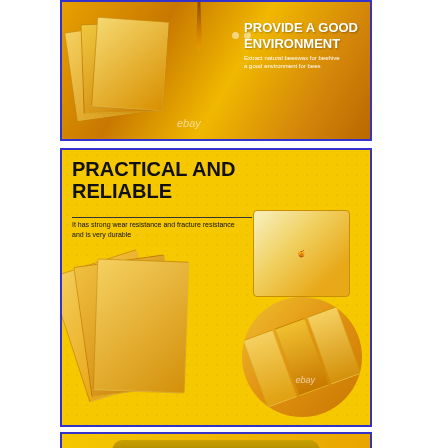[Figure (photo): Product image showing beeswax foundation sheets on a golden honey-colored background with honey dripping. Text reads 'PROVIDE A GOOD ENVIRONMENT' with subtitle 'Extract natural beeswax for beehive, a good environment for bees'. eBay watermark visible.]
[Figure (photo): Product image on honeycomb-patterned yellow background. Bold text 'PRACTICAL AND RELIABLE' with description 'It has strong wear resistance and fracture resistance and is very durable'. Shows beeswax foundation sheets fanned out, a honey jar inset photo, and a circular close-up of the sheets. eBay watermark visible.]
[Figure (photo): Partial product image with banner 'PRODUCT APPLICATION ENVIRONMENT' and subtitle text 'The shape is simple and practical, the honeycomb foundation is large'. Yellow/gold background.]